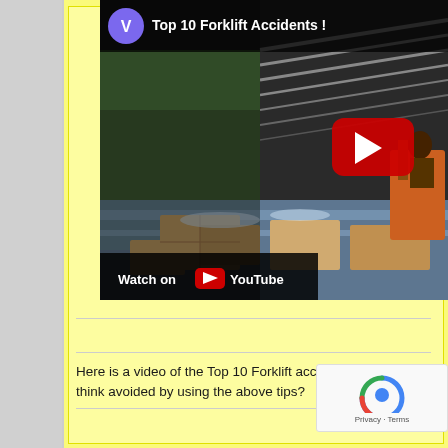[Figure (screenshot): YouTube video thumbnail showing 'Top 10 Forklift Accidents!' with a warehouse flooding scene and YouTube play button overlay. A 'Watch on YouTube' bar is shown at the bottom left of the video.]
Here is a video of the Top 10 Forklift accidents. Do you think avoided by using the above tips?